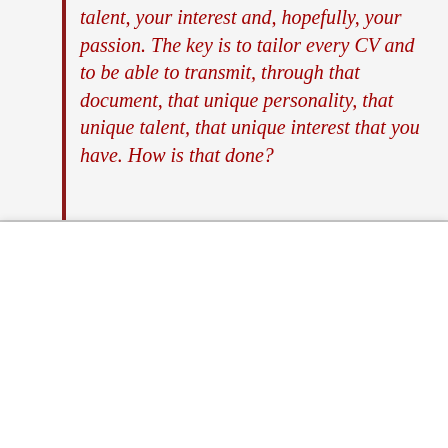talent, your interest and, hopefully, your passion. The key is to tailor every CV and to be able to transmit, through that document, that unique personality, that unique talent, that unique interest that you have. How is that done?
By clicking “Accept All Cookies”, you agree to the storing of cookies on your device to enhance site navigation, analyze site usage, and assist in our marketing efforts.
Accept All Cookies
Cookies Settings